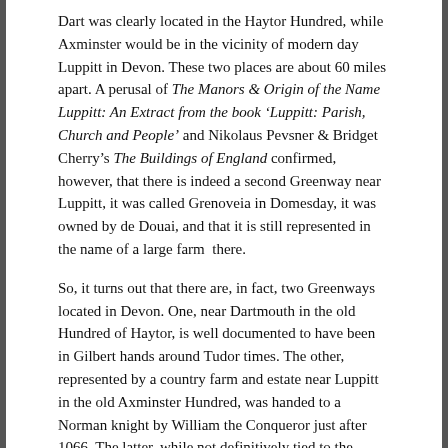Dart was clearly located in the Haytor Hundred, while Axminster would be in the vicinity of modern day Luppitt in Devon.  These two places are about 60 miles apart.  A perusal of The Manors & Origin of the Name Luppitt: An Extract from the book 'Luppitt: Parish, Church and People' and Nikolaus Pevsner & Bridget Cherry's The Buildings of England confirmed, however, that there is indeed a second Greenway near Luppitt, it was called Grenoveia in Domesday, it was owned by de Douai, and that it is still represented in the name of a large farm  there.
So, it turns out that there are, in fact, two Greenways located in Devon.  One, near Dartmouth in the old Hundred of Haytor, is well documented to have been in Gilbert hands around Tudor times.  The other, represented by a country farm and estate near Luppitt in the old Axminster Hundred, was handed to a Norman knight by William the Conqueror just after 1066.  The latter, while not definitively tied to the Gilbert name, may be crucial in identifying the family's origins.  An examination of